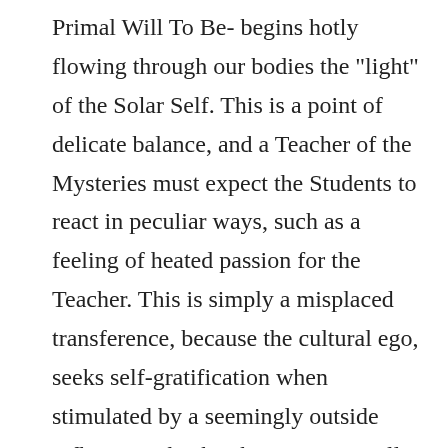Primal Will To Be- begins hotly flowing through our bodies the "light" of the Solar Self. This is a point of delicate balance, and a Teacher of the Mysteries must expect the Students to react in peculiar ways, such as a feeling of heated passion for the Teacher. This is simply a misplaced transference, because the cultural ego, seeks self-gratification when stimulated by a seemingly outside influence. This bright energy is really the beginning of unconditional love radiating within the student whose inner self is responding to the Gnosis (Knowledge).There exists a Love/ Passion dynamic that is the Fire of Spirit acting in sensual flesh and with proper guidance and cleansing the tempered aspirant will go into the Fire, instead of